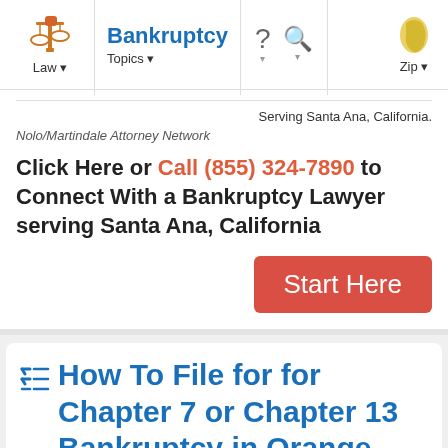Law | Bankruptcy | Topics | Zip
Serving Santa Ana, California.
Nolo/Martindale Attorney Network
Click Here or Call (855) 324-7890 to Connect With a Bankruptcy Lawyer serving Santa Ana, California
Start Here
How To File for for Chapter 7 or Chapter 13 Bankruptcy in Orange County, CA: